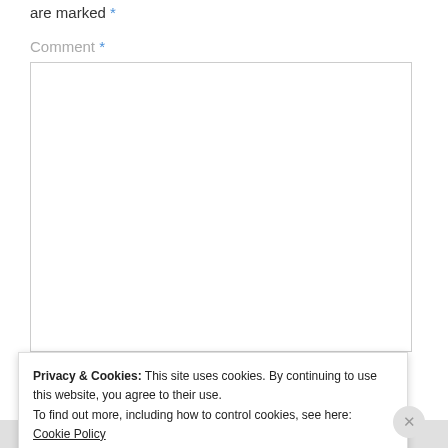are marked *
Comment *
[Figure (screenshot): Empty comment text area input box with border]
Privacy & Cookies: This site uses cookies. By continuing to use this website, you agree to their use. To find out more, including how to control cookies, see here: Cookie Policy
Close and accept